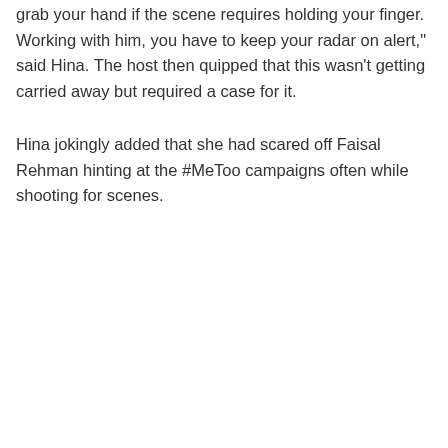grab your hand if the scene requires holding your finger. Working with him, you have to keep your radar on alert," said Hina. The host then quipped that this wasn't getting carried away but required a case for it.
Hina jokingly added that she had scared off Faisal Rehman hinting at the #MeToo campaigns often while shooting for scenes.